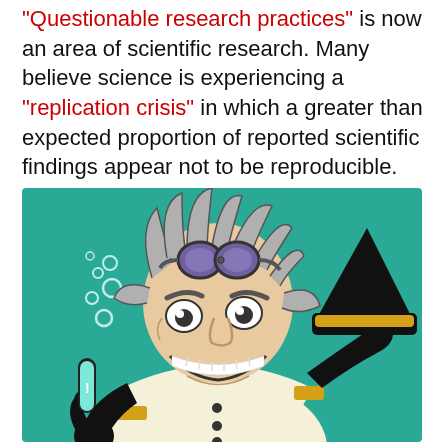"Questionable research practices" is now an area of scientific research. Many believe science is experiencing a "replication crisis" in which a greater than expected proportion of reported scientific findings appear not to be reproducible.
[Figure (illustration): Cartoon illustration of a mad scientist with wild gray hair, purple round goggles on forehead, wide grin showing large teeth, holding a test tube with a glowing teal liquid in one gloved hand and a pointed black hat with a gold band in the other, wearing a lab coat with gold sleeve trim. Teal/green background.]